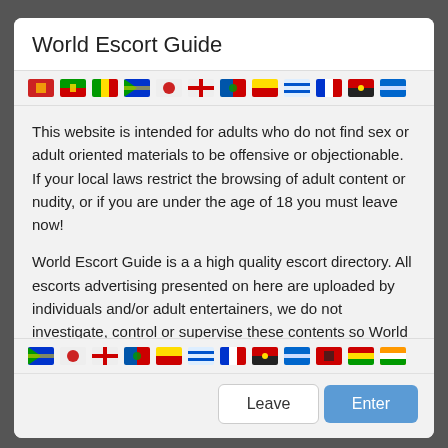World Escort Guide
[Figure (illustration): Row of small national flag icons]
This website is intended for adults who do not find sex or adult oriented materials to be offensive or objectionable. If your local laws restrict the browsing of adult content or nudity, or if you are under the age of 18 you must leave now!
World Escort Guide is a a high quality escort directory. All escorts advertising presented on here are uploaded by individuals and/or adult entertainers, we do not investigate, control or supervise these contents so World Escort Guide cannot be responsible for any sort of claims about the advertisements.
[Figure (illustration): Row of small national flag icons]
Leave | Enter (buttons)